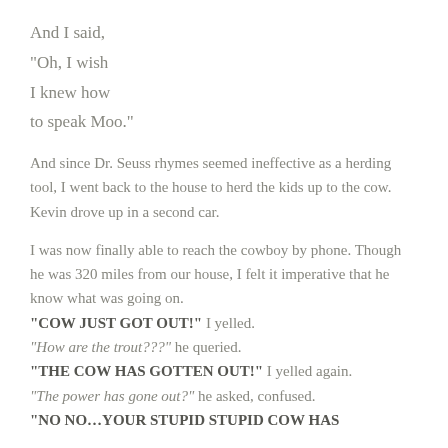And I said,
"Oh, I wish
I knew how
to speak Moo."
And since Dr. Seuss rhymes seemed ineffective as a herding tool, I went back to the house to herd the kids up to the cow. Kevin drove up in a second car.
I was now finally able to reach the cowboy by phone. Though he was 320 miles from our house, I felt it imperative that he know what was going on. "COW JUST GOT OUT!" I yelled. "How are the trout???" he queried. "THE COW HAS GOTTEN OUT!" I yelled again. "The power has gone out?" he asked, confused. "NO NO...YOUR STUPID STUPID COW HAS